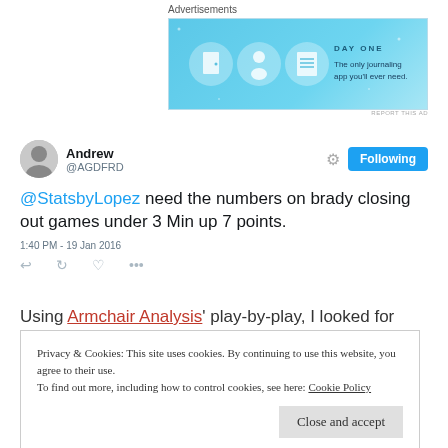Advertisements
[Figure (screenshot): Day One app advertisement banner with light blue background, icons, and tagline 'The only journaling app you'll ever need.']
REPORT THIS AD
[Figure (screenshot): Tweet from Andrew (@AGDFRD): '@StatsbyLopez need the numbers on brady closing out games under 3 Min up 7 points.' 1:40 PM - 19 Jan 2016]
Using Armchchair Analysis' play-by-play, I looked for
Privacy & Cookies: This site uses cookies. By continuing to use this website, you agree to their use.
To find out more, including how to control cookies, see here: Cookie Policy
Close and accept
the game.